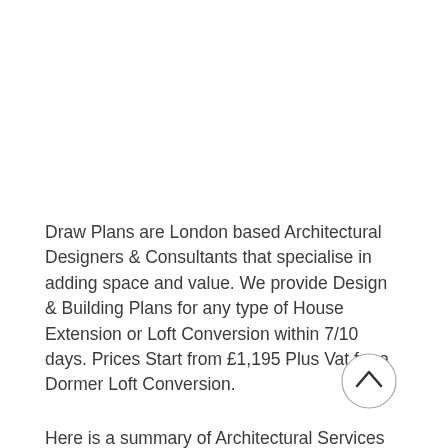Draw Plans are London based Architectural Designers & Consultants that specialise in adding space and value. We provide Design & Building Plans for any type of House Extension or Loft Conversion within 7/10 days. Prices Start from £1,195 Plus Vat for a Dormer Loft Conversion.
Here is a summary of Architectural Services that you may need for a Loft